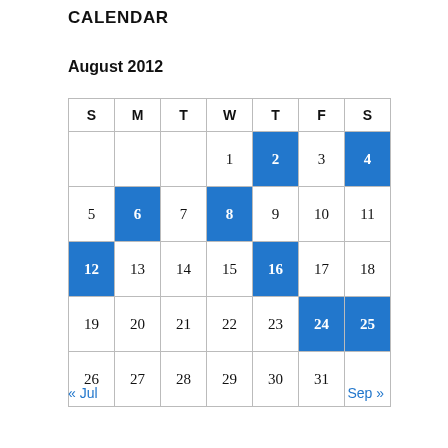CALENDAR
August 2012
| S | M | T | W | T | F | S |
| --- | --- | --- | --- | --- | --- | --- |
|  |  |  | 1 | 2 | 3 | 4 |
| 5 | 6 | 7 | 8 | 9 | 10 | 11 |
| 12 | 13 | 14 | 15 | 16 | 17 | 18 |
| 19 | 20 | 21 | 22 | 23 | 24 | 25 |
| 26 | 27 | 28 | 29 | 30 | 31 |  |
« Jul   Sep »